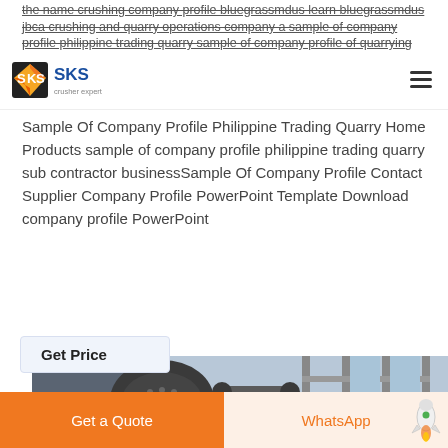the name crushing company profile bluegrassmdus learn bluegrassmdus jbca crushing and quarry operations company a sample of company profile philippine trading quarry sample of company profile of quarrying business
[Figure (logo): SKS Crusher Expert logo — orange/yellow diamond with letter marks, company name in blue]
Sample Of Company Profile Philippine Trading Quarry Home Products sample of company profile philippine trading quarry sub contractor businessSample Of Company Profile Contact Supplier Company Profile PowerPoint Template Download company profile PowerPoint
Get Price
[Figure (photo): Industrial machinery with metal components, cylindrical equipment, structural steel framework against blue sky]
Get a Quote   WhatsApp